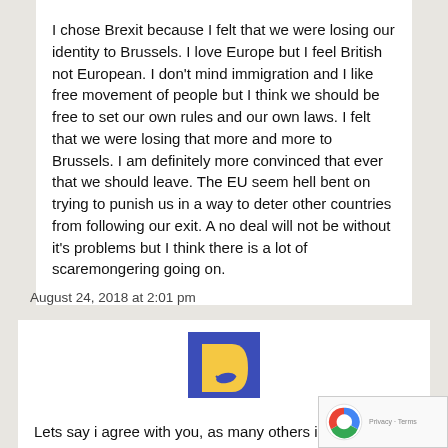I chose Brexit because I felt that we were losing our identity to Brussels. I love Europe but I feel British not European. I don't mind immigration and I like free movement of people but I think we should be free to set our own rules and our own laws. I felt that we were losing that more and more to Brussels. I am definitely more convinced that ever that we should leave. The EU seem hell bent on trying to punish us in a way to deter other countries from following our exit. A no deal will not be without it's problems but I think there is a lot of scaremongering going on.
August 24, 2018 at 2:01 pm
[Figure (illustration): Avatar icon for user LauraS - blue/purple square background with yellow letter D shape and a smiley face, labeled LauraS below]
Lets say i agree with you, as many others i suppose .What about the trade- import , exports